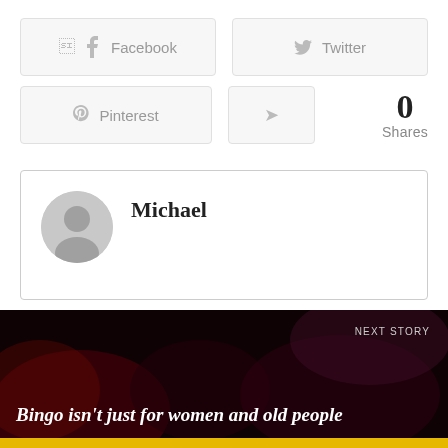[Figure (other): Social share buttons: Facebook, Twitter, Pinterest, and a generic share icon, plus a 0 Shares count]
Michael
[Figure (photo): Dark nightclub/bingo hall scene with people, dark background with red and purple lighting]
NEXT STORY
Bingo isn't just for women and old people